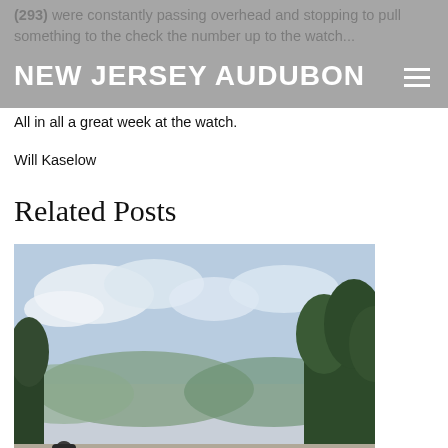NEW JERSEY AUDUBON
(293) were constantly passing overhead and stopping to pull something to the check the number up to the watch...
All in all a great week at the watch.
Will Kaselow
Related Posts
[Figure (photo): A spotting scope on a tripod set up on a gravel surface with trees and sky in the background — a hawkwatch observation point.]
Montclair Hawkwatch Update- October 31st
The weather on the majority of the days this week has not been conducive to...